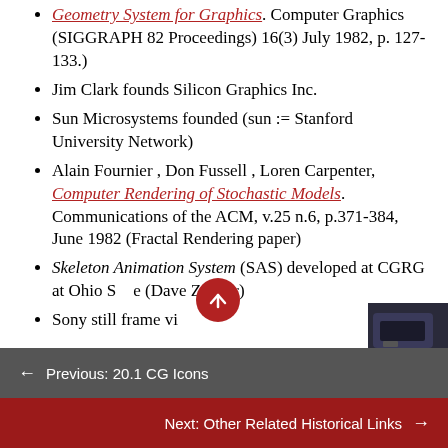Geometry System for Graphics. Computer Graphics (SIGGRAPH 82 Proceedings) 16(3) July 1982, p. 127-133.)
Jim Clark founds Silicon Graphics Inc.
Sun Microsystems founded (sun := Stanford University Network)
Alain Fournier , Don Fussell , Loren Carpenter, Computer Rendering of Stochastic Models. Communications of the ACM, v.25 n.6, p.371-384, June 1982 (Fractal Rendering paper)
Skeleton Animation System (SAS) developed at CGRG at Ohio State (Dave Zeltzer)
Sony still frame video
← Previous: 20.1 CG Icons
Next: Other Related Historical Links →